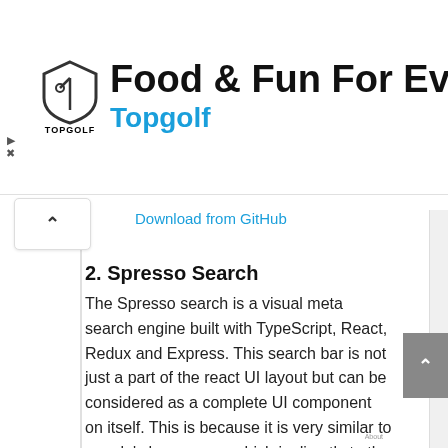[Figure (illustration): Topgolf advertisement banner with logo and 'Food & Fun For Everyone' headline, blue navigation icon on right, play and close controls on left]
Download from GitHub
2. Spresso Search
The Spresso search is a visual meta search engine built with TypeScript, React, Redux and Express. This search bar is not just a part of the react UI layout but can be considered as a complete UI component on itself. This is because it is very similar to google's home page which is directly to the point. It knows that user is there for search operation so without any delay it directs to a page just containing search bar option to get things going.